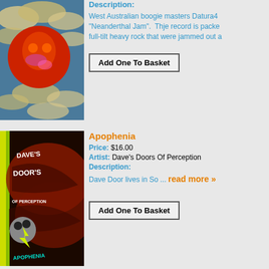[Figure (photo): Album cover art for a West Australian boogie/heavy rock record, featuring a large red sun/circle with psychedelic imagery against a blue cloudy sky]
Description:
West Australian boogie masters Datura4 "Neanderthal Jam". Thje record is packed full-tilt heavy rock that were jammed out a
Add One To Basket
[Figure (photo): Album cover art for Dave's Doors Of Perception - Apophenia, showing a psychedelic skull with lightning bolt and swirling text on dark red/brown background]
Apophenia
Price: $16.00
Artist: Dave's Doors Of Perception
Description:
Dave Door lives in So ... read more »
Add One To Basket